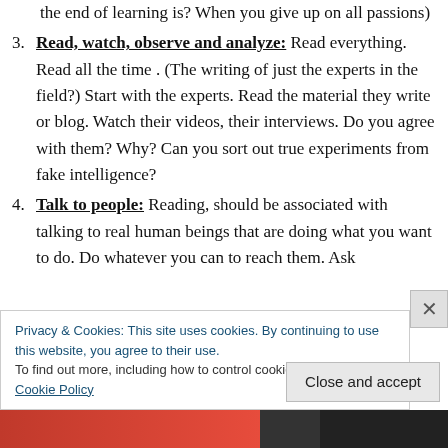the end of learning is? When you give up on all passions)
Read, watch, observe and analyze: Read everything. Read all the time . (The writing of just the experts in the field?) Start with the experts. Read the material they write or blog. Watch their videos, their interviews. Do you agree with them? Why? Can you sort out true experiments from fake intelligence?
Talk to people: Reading, should be associated with talking to real human beings that are doing what you want to do. Do whatever you can to reach them. Ask
Privacy & Cookies: This site uses cookies. By continuing to use this website, you agree to their use. To find out more, including how to control cookies, see here: Cookie Policy